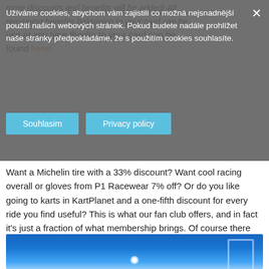more discounts and benefits will be added! All remaining benefits belonging to your card can be use at any time thanks to your card can be found here!
Užíváme cookies, abychom vám zajistili co možná nejsnadnější použití našich webových stránek. Pokud budete nadále prohlížet naše stránky předpokládáme, že s použitím cookies souhlasíte.
Souhlasim   Privacy policy
Want a Michelin tire with a 33% discount? Want cool racing overall or gloves from P1 Racewear 7% off? Or do you like going to karts in KartPlanet and a one-fifth discount for every ride you find useful? This is what our fan club offers, and in fact it's just a fraction of what membership brings. Of course there are amazing discounts on goods from our FANS SHOP!
[Figure (photo): Photo of outdoor scene with blue sky and a bright light/lamp, with structural frame visible on the right]